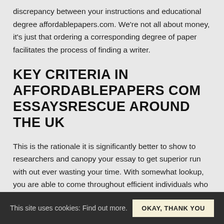discrepancy between your instructions and educational degree affordablepapers.com. We're not all about money, it's just that ordering a corresponding degree of paper facilitates the process of finding a writer.
KEY CRITERIA IN AFFORDABLEPAPERS COM ESSAYSRESCUE AROUND THE UK
This is the rationale it is significantly better to show to researchers and canopy your essay to get superior run with out ever wasting your time. With somewhat lookup, you are able to come throughout efficient individuals who shall do their highest affordablepapers com to make an excellent high quality essay and positively will not ask for
This site uses cookies: Find out more.  OKAY, THANK YOU